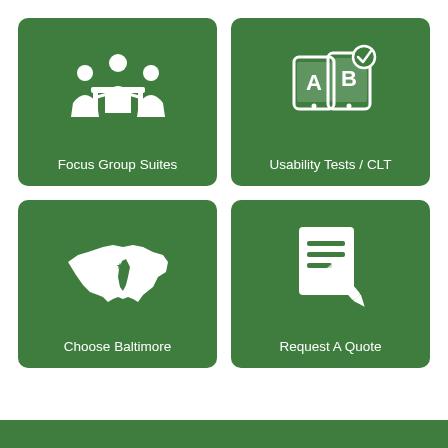[Figure (infographic): Four green rounded-rectangle tiles in a 2x2 grid. Top-left: focus group icon (people around a table), labeled 'Focus Group Suites'. Top-right: A/B testing icon (two tablets with A and B, checkmark), labeled 'Usability Tests / CLT'. Bottom-left: Maryland state map silhouette, labeled 'Choose Baltimore'. Bottom-right: document with pencil icon, labeled 'Request A Quote'. Green footer bar at bottom.]